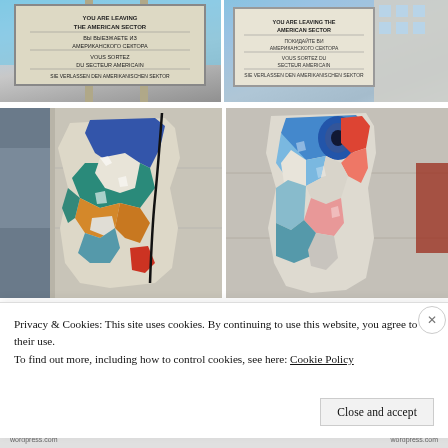[Figure (photo): Checkpoint Charlie sign reading 'You are leaving the American Sector' in four languages, photographed against a blue sky]
[Figure (photo): Checkpoint Charlie sector sign photographed from below against modern buildings]
[Figure (photo): Fragment of the Berlin Wall displayed outdoors, painted with colorful abstract art in blue, teal, yellow and white]
[Figure (photo): Fragment of the Berlin Wall displayed indoors, painted with abstract art in blue, red and pink tones]
Privacy & Cookies: This site uses cookies. By continuing to use this website, you agree to their use.
To find out more, including how to control cookies, see here: Cookie Policy
Close and accept